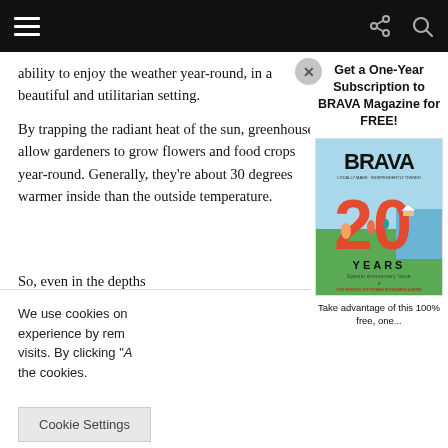Navigation bar with hamburger menu, share and search icons
ability to enjoy the weather year-round, in a beautiful and utilitarian setting.
By trapping the radiant heat of the sun, greenhouses allow gardeners to grow flowers and food crops year-round. Generally, they're about 30 degrees warmer inside than the outside temperature.
So, even in the depths of winter, you can enjoy tropical blo... salad.
We use cookies on... experience by rem... visits. By clicking "A... the cookies.
[Figure (screenshot): Cookie Settings button]
Get a One-Year Subscription to BRAVA Magazine for FREE!
[Figure (illustration): BRAVA Magazine cover showing 20 YEARS Special Anniversary Issue with illustrated scene]
Take advantage of this 100% free, one...